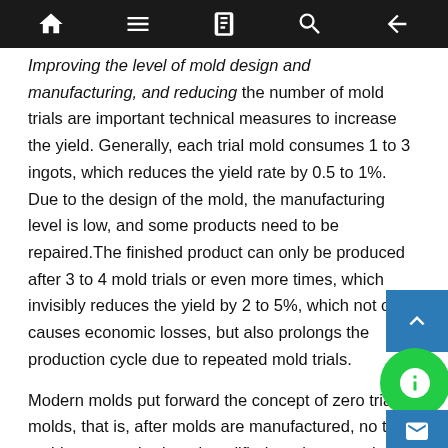[toolbar navigation icons]
Improving the level of mold design and manufacturing, and reducing the number of mold trials are important technical measures to increase the yield. Generally, each trial mold consumes 1 to 3 ingots, which reduces the yield rate by 0.5 to 1%. Due to the design of the mold, the manufacturing level is low, and some products need to be repaired.The finished product can only be produced after 3 to 4 mold trials or even more times, which invisibly reduces the yield by 2 to 5%, which not only causes economic losses, but also prolongs the production cycle due to repeated mold trials.
Modern molds put forward the concept of zero trial molds, that is, after molds are manufactured, no trial molds are required, and qualified products can be produced directly on the machine. Using simulation design software, finite element analysis, the design can all be completed in the computer. It is also possible to simulate the test mode through the computer. The mold cavity processing is completed in the automatic machining center, and the entire processing is completed with high precision, so the quality of t